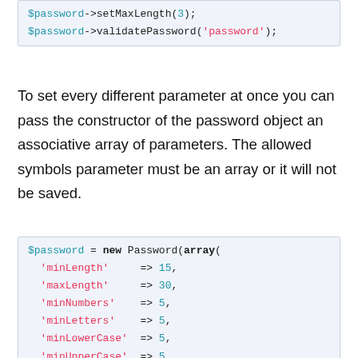[Figure (screenshot): Code block showing $password->setMaxLength(3); and $password->validatePassword('password');]
To set every different parameter at once you can pass the constructor of the password object an associative array of parameters. The allowed symbols parameter must be an array or it will not be saved.
[Figure (screenshot): Code block showing $password = new Password(array( with keys 'minLength'=>15, 'maxLength'=>30, 'minNumbers'=>5, 'minLetters'=>5, 'minLowerCase'=>5, 'minUpperCase'=>5, 'minSymbols'=>5, 'maxSymbols'=>10,]